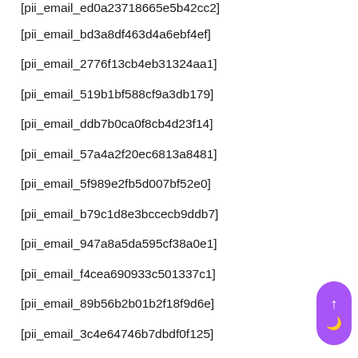[pii_email_ed0a23718665e5b42cc2]
[pii_email_bd3a8df463d4a6ebf4ef]
[pii_email_2776f13cb4eb31324aa1]
[pii_email_519b1bf588cf9a3db179]
[pii_email_ddb7b0ca0f8cb4d23f14]
[pii_email_57a4a2f20ec6813a8481]
[pii_email_5f989e2fb5d007bf52e0]
[pii_email_b79c1d8e3bccecb9ddb7]
[pii_email_947a8a5da595cf38a0e1]
[pii_email_f4cea690933c501337c1]
[pii_email_89b56b2b01b2f18f9d6e]
[pii_email_3c4e64746b7dbdf0f125]
[pii_email_0763df7609c640dae09d]